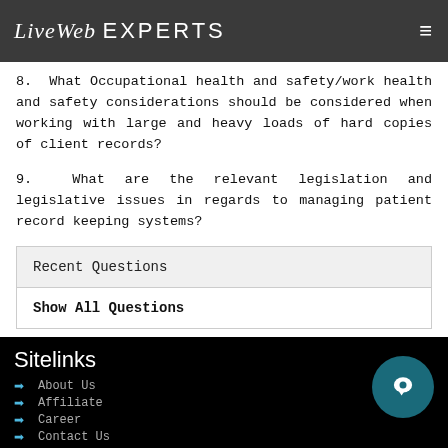LiveWeb EXPERTS
8. What Occupational health and safety/work health and safety considerations should be considered when working with large and heavy loads of hard copies of client records?
9. What are the relevant legislation and legislative issues in regards to managing patient record keeping systems?
Recent Questions
Show All Questions
Sitelinks
About Us
Affiliate
Career
Contact Us
Make Payment
Services